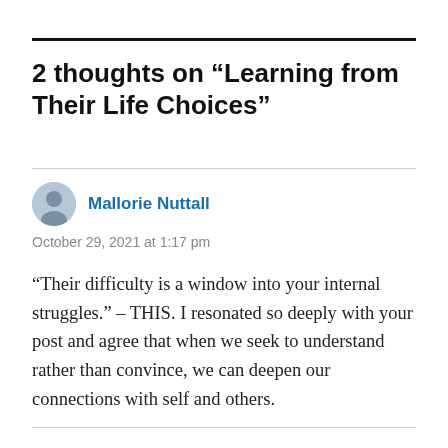2 thoughts on “Learning from Their Life Choices”
Mallorie Nuttall
October 29, 2021 at 1:17 pm
“Their difficulty is a window into your internal struggles.” – THIS. I resonated so deeply with your post and agree that when we seek to understand rather than convince, we can deepen our connections with self and others.